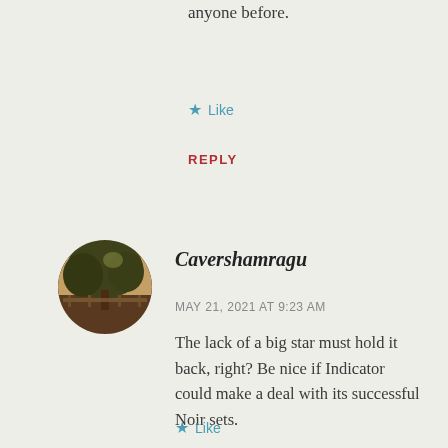anyone before.
★ Like
REPLY
[Figure (photo): Circular avatar photo of a park or outdoor scene with trees and a bench, dark warm tones.]
Cavershamragu
MAY 21, 2021 AT 9:23 AM
The lack of a big star must hold it back, right? Be nice if Indicator could make a deal with its successful Noir sets.
★ Like